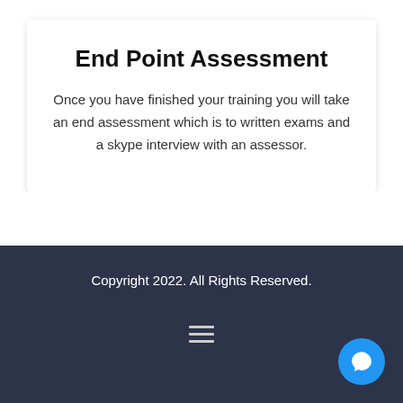End Point Assessment
Once you have finished your training you will take an end assessment which is to written exams and a skype interview with an assessor.
Copyright 2022. All Rights Reserved.